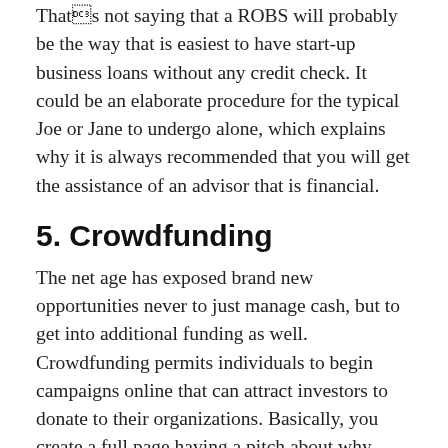That's not saying that a ROBS will probably be the way that is easiest to have start-up business loans without any credit check. It could be an elaborate procedure for the typical Joe or Jane to undergo alone, which explains why it is always recommended that you will get the assistance of an advisor that is financial.
5. Crowdfunding
The net age has exposed brand new opportunities never to just manage cash, but to get into additional funding as well. Crowdfunding permits individuals to begin campaigns online that can attract investors to donate to their organizations. Basically, you create a full page having a pitch about why your online business deserves investment, then share that web web page across your media that are social and through email promotions.